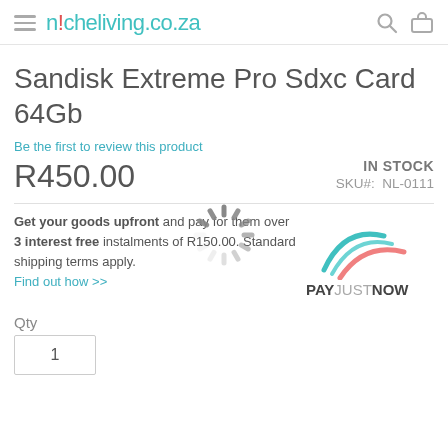nicheliving.co.za
Sandisk Extreme Pro Sdxc Card 64Gb
Be the first to review this product
R450.00    IN STOCK   SKU#: NL-0111
[Figure (other): Loading spinner animation graphic]
Get your goods upfront and pay for them over 3 interest free instalments of R150.00. Standard shipping terms apply. Find out how >>
[Figure (logo): PAYJUSTNOW logo with teal and pink arc stripes]
Qty
1